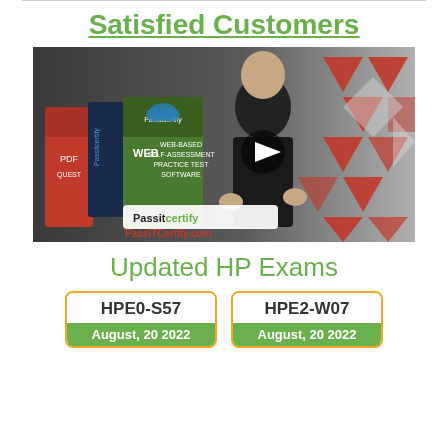Satisfied Customers
[Figure (screenshot): Video thumbnail showing a man in a black suit presenting, with PassITCertify product boxes (PDF, WEB-BASED SELF-ASSESSMENT PRACTICE TEST SOFTWARE) on the left, red triangle decorative shapes on the right, a play button in the center, and 'Passitcertify' and 'PassITCertify.com' branding at the bottom left.]
Updated HP Exams
HPE0-S57
August, 20 2022
HPE2-W07
August, 20 2022